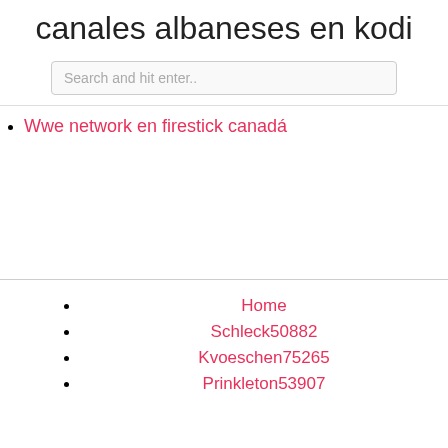canales albaneses en kodi
Search and hit enter..
Wwe network en firestick canadá
Home
Schleck50882
Kvoeschen75265
Prinkleton53907